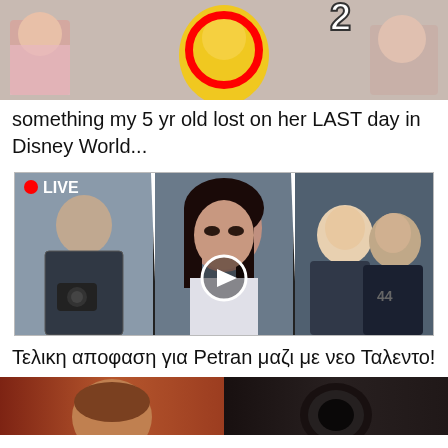[Figure (photo): Top thumbnail image showing people at Disney World with a red circle and number 2 overlay]
something my 5 yr old lost on her LAST day in Disney World...
[Figure (photo): Three-panel video thumbnail with LIVE badge on left panel showing a man, center panel showing a woman with a play button, right panel showing two people smiling]
Τελικη αποφαση για Petran μαζι με νεο Ταλεντο!
[Figure (photo): Bottom partial thumbnail showing two images side by side]